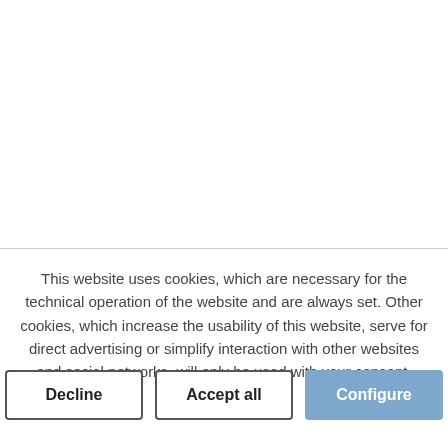This website uses cookies, which are necessary for the technical operation of the website and are always set. Other cookies, which increase the usability of this website, serve for direct advertising or simplify interaction with other websites and social networks, will only be used with your consent.
Decline
Accept all
Configure